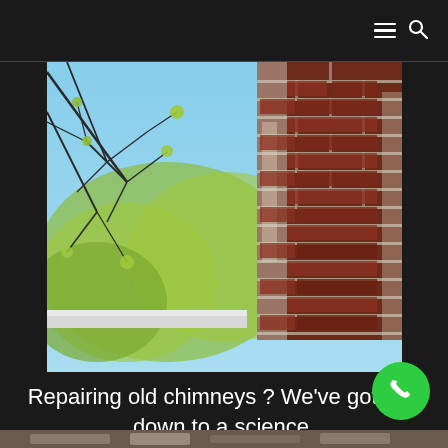≡ 🔍
[Figure (photo): Close-up photograph of an old, weathered brick chimney with white mortar staining and deteriorating joints, rising above a roofline, with leafy tree branches in the foreground and a clear blue sky in the background.]
Repairing old chimneys ? We've got that down to a science.